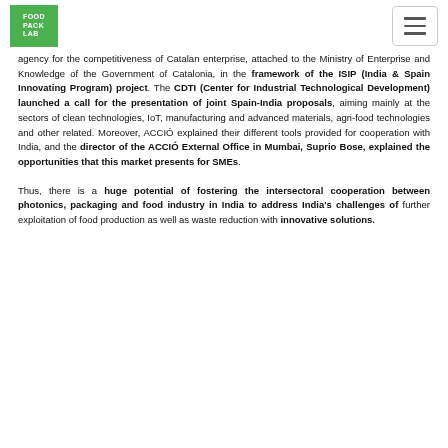FOOD PACK LAB logo and navigation
agency for the competitiveness of Catalan enterprise, attached to the Ministry of Enterprise and Knowledge of the Government of Catalonia, in the framework of the ISIP (India & Spain Innovating Program) project. The CDTI (Center for Industrial Technological Development) launched a call for the presentation of joint Spain-India proposals, aiming mainly at the sectors of clean technologies, IoT, manufacturing and advanced materials, agri-food technologies and other related. Moreover, ACCIÓ explained their different tools provided for cooperation with India, and the director of the ACCIÓ External Office in Mumbai, Suprio Bose, explained the opportunities that this market presents for SMEs.
Thus, there is a huge potential of fostering the intersectoral cooperation between photonics, packaging and food industry in India to address India's challenges of further exploitation of food production as well as waste reduction with innovative solutions.